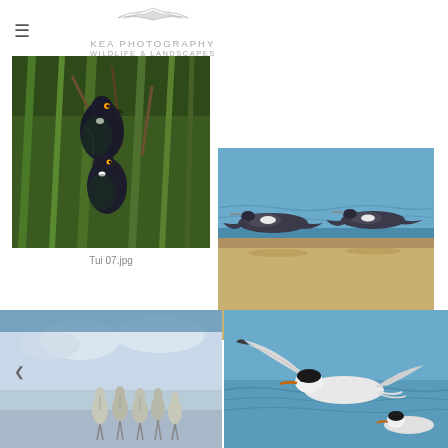Kea Photography Wildlife & Landscapes
[Figure (photo): Two Tui birds perched on flax plant branches with green foliage background]
Tui 07.jpg
[Figure (photo): Two Spotted Shag birds in flight over sandy beach with ocean in background]
Spotted Shag 36_H7C3338.jpg
[Figure (photo): Group of young heron chicks standing together against cloudy sky]
[Figure (photo): Tern bird in flight or landing with wings spread, blue water background]